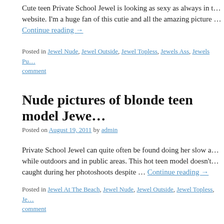Cute teen Private School Jewel is looking as sexy as always in t… website. I'm a huge fan of this cutie and all the amazing picture … Continue reading →
Posted in Jewel Nude, Jewel Outside, Jewel Topless, Jewels Ass, Jewels Pu… comment
Nude pictures of blonde teen model Jewe…
Posted on August 19, 2011 by admin
Private School Jewel can quite often be found doing her slow a… while outdoors and in public areas. This hot teen model doesn't… caught during her photoshoots despite … Continue reading →
Posted in Jewel At The Beach, Jewel Nude, Jewel Outside, Jewel Topless, Je… comment
Private School Jewel looking hot in her w…